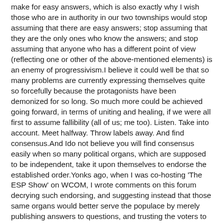make for easy answers, which is also exactly why I wish those who are in authority in our two townships would stop assuming that there are easy answers; stop assuming that they are the only ones who know the answers; and stop assuming that anyone who has a different point of view (reflecting one or other of the above-mentioned elements) is an enemy of progressivism.I believe it could well be that so many problems are currently expressing themselves quite so forcefully because the protagonists have been demonized for so long. So much more could be achieved going forward, in terms of uniting and healing, if we were all first to assume fallibility (all of us; me too). Listen. Take into account. Meet halfway. Throw labels away. And find consensus.And Ido not believe you will find consensus easily when so many political organs, which are supposed to be independent, take it upon themselves to endorse the established order.Yonks ago, when I was co-hosting 'The ESP Show' on WCOM, I wrote comments on this forum decrying such endorsing, and suggesting instead that those same organs would better serve the populace by merely publishing answers to questions, and trusting the voters to be able to make up their own minds.